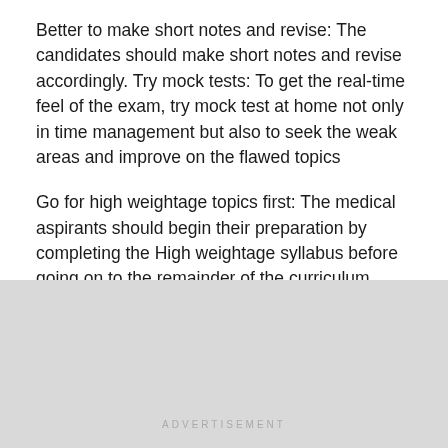Better to make short notes and revise: The candidates should make short notes and revise accordingly. Try mock tests: To get the real-time feel of the exam, try mock test at home not only in time management but also to seek the weak areas and improve on the flawed topics
Go for high weightage topics first: The medical aspirants should begin their preparation by completing the High weightage syllabus before going on to the remainder of the curriculum.
It is always better to set up different time slots for each subject, beginning with the high-weight concerns and progressing to the ones that require a thorough review.
[Figure (other): Advertisement placeholder area with grey background and ADVERTISEMENT label text]